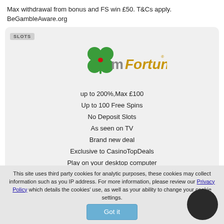Max withdrawal from bonus and FS win £50. T&Cs apply. BeGambleAware.org
[Figure (logo): mFortune casino logo with green four-leaf clover and gold stylized text]
up to 200%,Max £100
Up to 100 Free Spins
No Deposit Slots
As seen on TV
Brand new deal
Exclusive to CasinoTopDeals
Play on your desktop computer
Play on your mobile phone or tablet
Download software to play
This site uses third party cookies for analytic purposes, these cookies may collect information such as you IP address. For more information, please review our Privacy Policy which details the cookies' use, as well as your ability to change your cookie settings.